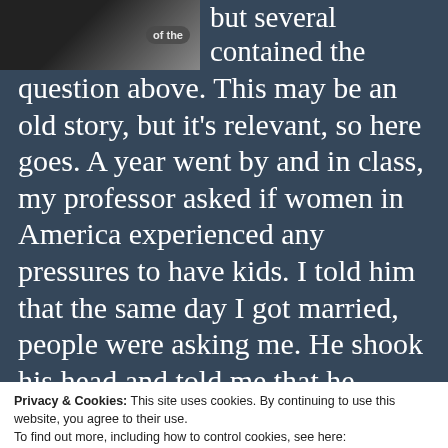[Figure (photo): Partial image in top left corner showing a dark circular logo or badge on a grey background]
but several contained the question above. This may be an old story, but it's relevant, so here goes. A year went by and in class, my professor asked if women in America experienced any pressures to have kids. I told him that the same day I got married, people were asking me. He shook his head and told me that he doubted it actually happened.
Privacy & Cookies: This site uses cookies. By continuing to use this website, you agree to their use.
To find out more, including how to control cookies, see here:
Cookie Policy
Close and accept
foreseeable future. I don't have to like